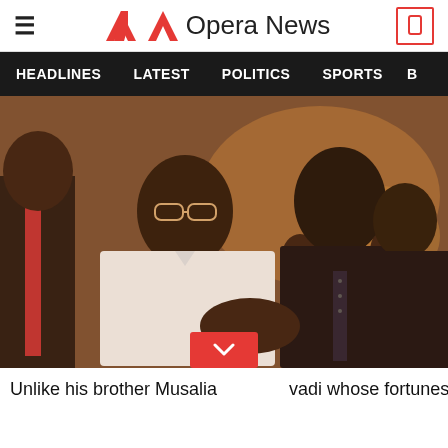Opera News
[Figure (other): Navigation bar with menu items: HEADLINES, LATEST, POLITICS, SPORTS]
[Figure (photo): Two men shaking hands at a formal event. One man in a white shirt with glasses, another in a dark suit with a dotted tie. Several people visible in the background in a warmly lit venue.]
Unlike his brother Musalia Mudavadi whose fortunes in the